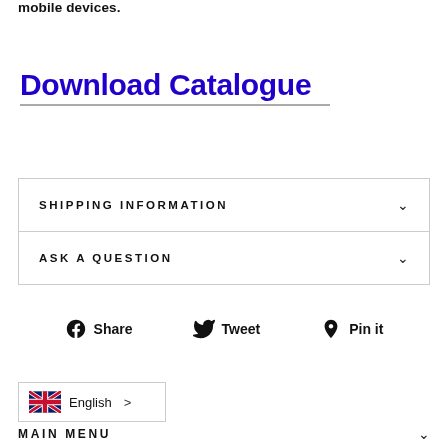mobile devices.
Download Catalogue
SHIPPING INFORMATION
ASK A QUESTION
Share  Tweet  Pin it
English
MAIN MENU